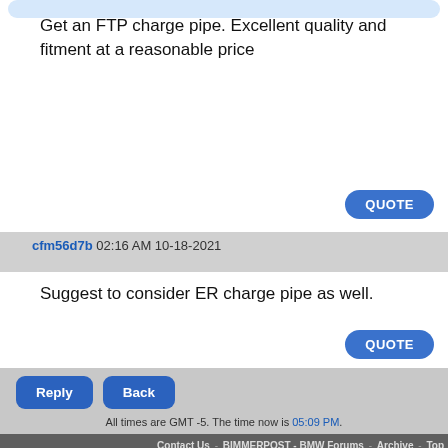Get an FTP charge pipe. Excellent quality and fitment at a reasonable price
cfm56d7b 02:16 AM 10-18-2021
Suggest to consider ER charge pipe as well.
All times are GMT -5. The time now is 05:09 PM.
Contact Us - BIMMERPOST - BMW Forums - Archive - Top
Powered by vBulletin® Version 3.8.11 Copyright ©2000 - 2022, vBulletin Solutions Inc. Privacy Policy - Terms of Service